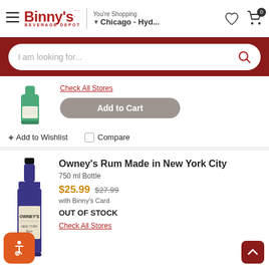Binny's Beverage Depot | You're Shopping Chicago - Hyd...
I am looking for...
Check All Stores
Add to Cart
+ Add to Wishlist
Compare
Owney's Rum Made in New York City
750 ml Bottle
$25.99  $27.99 with Binny's Card
OUT OF STOCK
Check All Stores
[Figure (photo): Blue bottle of Owney's Rum Made in New York City]